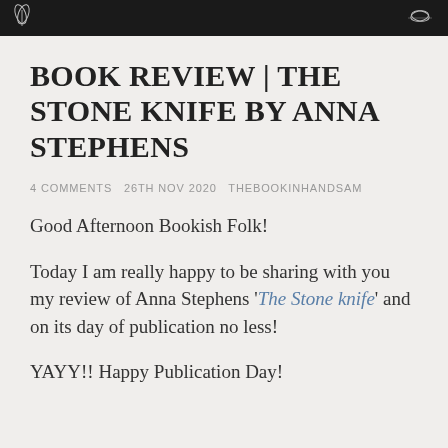[decorative header banner with ornamental design on black background]
BOOK REVIEW | THE STONE KNIFE BY ANNA STEPHENS
4 COMMENTS 26TH NOV 2020 THEBOOKINHANDSAM
Good Afternoon Bookish Folk!
Today I am really happy to be sharing with you my review of Anna Stephens 'The Stone knife' and on its day of publication no less!
YAYY!! Happy Publication Day!